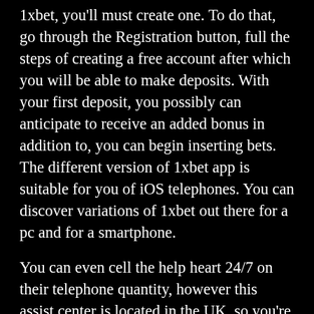1xbet, you'll must create one. To do that, go through the Registration button, full the steps of creating a free account after which you will be able to make deposits. With your first deposit, you possibly can anticipate to receive an added bonus in addition to, you can begin inserting bets. The different version of 1xbet app is suitable for you of iOS telephones. You can discover variations of 1xbet out there for a pc and for a smartphone.
You can even cell the help heart 24/7 on their telephone quantity, however this assist center is located in the UK, so you're more than likely greater off utilizing the stay chat. The first step is to open the web site of 1xbet and enter the Windows App part. Silentbet.com – Bookmakers evaluations, Bonus presents and Expert ideas. To be part of 1xbet, you should be throughout the approved age to access this system. If you could be